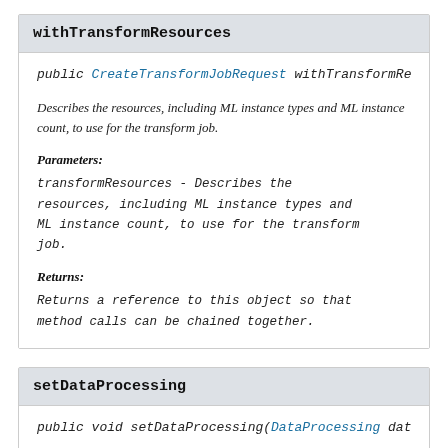withTransformResources
public CreateTransformJobRequest withTransformRes…
Describes the resources, including ML instance types and ML instance count, to use for the transform job.
Parameters:
transformResources - Describes the resources, including ML instance types and ML instance count, to use for the transform job.
Returns:
Returns a reference to this object so that method calls can be chained together.
setDataProcessing
public void setDataProcessing(DataProcessing data…
The data structure used to specify the data to be used for…